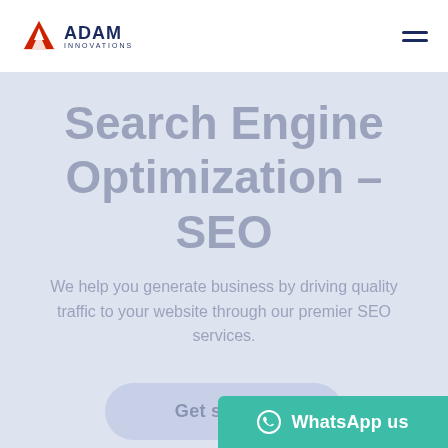[Figure (logo): Adam Innovations logo with red triangle/A icon and dark blue text 'ADAM INNOVATIONS']
Search Engine Optimization - SEO
We help you generate business by driving quality traffic to your website through our premier SEO services.
Get started
WhatsApp us